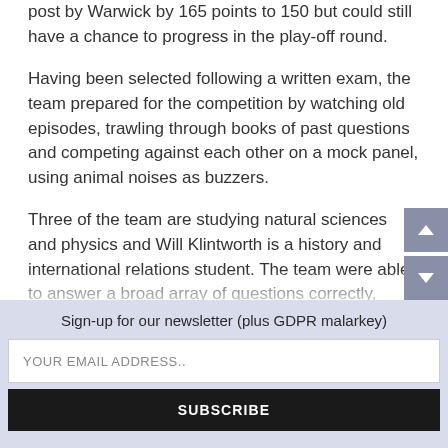post by Warwick by 165 points to 150 but could still have a chance to progress in the play-off round.
Having been selected following a written exam, the team prepared for the competition by watching old episodes, trawling through books of past questions and competing against each other on a mock panel, using animal noises as buzzers.
Three of the team are studying natural sciences and physics and Will Klintworth is a history and international relations student. The team were able to answer a broad array of questions correctly, including those about the artist Jacque-Louis Davide
Sign-up for our newsletter (plus GDPR malarkey)
YOUR EMAIL ADDRESS..
SUBSCRIBE